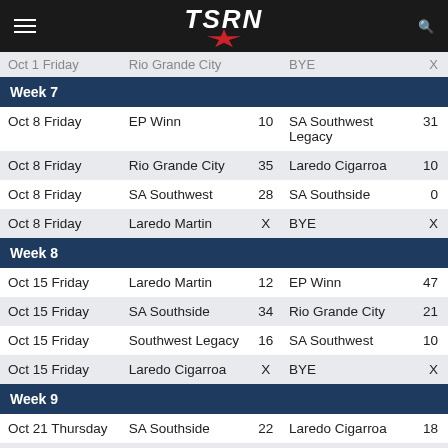TSRN
| Date | Team 1 | Score | Team 2 | Score |
| --- | --- | --- | --- | --- |
| Oct 1 Friday | Rio Grande City | BYE |  | X |
| Week 7 |  |  |  |  |
| Oct 8 Friday | EP Winn | 10 | SA Southwest Legacy | 31 |
| Oct 8 Friday | Rio Grande City | 35 | Laredo Cigarroa | 10 |
| Oct 8 Friday | SA Southwest | 28 | SA Southside | 0 |
| Oct 8 Friday | Laredo Martin | X | BYE | X |
| Week 8 |  |  |  |  |
| Oct 15 Friday | Laredo Martin | 12 | EP Winn | 47 |
| Oct 15 Friday | SA Southside | 34 | Rio Grande City | 21 |
| Oct 15 Friday | Southwest Legacy | 16 | SA Southwest | 10 |
| Oct 15 Friday | Laredo Cigarroa | X | BYE | X |
| Week 9 |  |  |  |  |
| Oct 21 Thursday | SA Southside | 22 | Laredo Cigarroa | 18 |
| Oct 22 Friday | SA Southwest | 21 | Laredo Martin | 0 |
| Oct 22 Friday | Rio Grande City | 0 | SA Southwest | 20 |